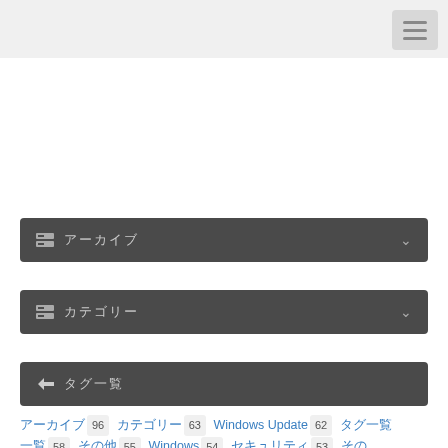Navigation header with hamburger menu
アーカイブ
カテゴリー
タグ一覧
アーカイブ 96 カテゴリー 63 Windows Update 62 タグ一覧 58 その他 55 Windows 54 セキュリティ 53 その他 Download Windows 10